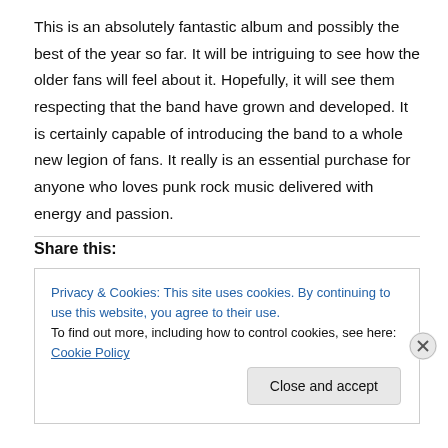This is an absolutely fantastic album and possibly the best of the year so far. It will be intriguing to see how the older fans will feel about it. Hopefully, it will see them respecting that the band have grown and developed. It is certainly capable of introducing the band to a whole new legion of fans. It really is an essential purchase for anyone who loves punk rock music delivered with energy and passion.
Share this:
Privacy & Cookies: This site uses cookies. By continuing to use this website, you agree to their use.
To find out more, including how to control cookies, see here: Cookie Policy
Close and accept